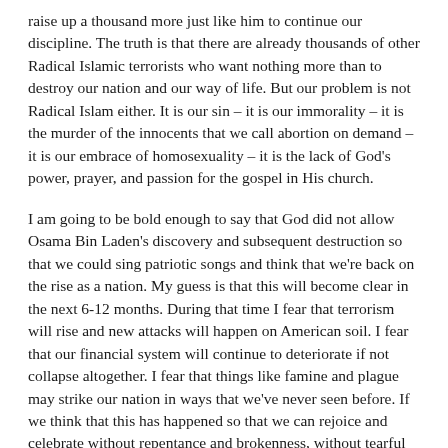raise up a thousand more just like him to continue our discipline. The truth is that there are already thousands of other Radical Islamic terrorists who want nothing more than to destroy our nation and our way of life. But our problem is not Radical Islam either. It is our sin – it is our immorality – it is the murder of the innocents that we call abortion on demand – it is our embrace of homosexuality – it is the lack of God's power, prayer, and passion for the gospel in His church.
I am going to be bold enough to say that God did not allow Osama Bin Laden's discovery and subsequent destruction so that we could sing patriotic songs and think that we're back on the rise as a nation. My guess is that this will become clear in the next 6-12 months. During that time I fear that terrorism will rise and new attacks will happen on American soil. I fear that our financial system will continue to deteriorate if not collapse altogether. I fear that things like famine and plague may strike our nation in ways that we've never seen before. If we think that this has happened so that we can rejoice and celebrate without repentance and brokenness, without tearful confession of sin, without calls to prayer for revival in the church and awakening among the lost, we are doomed. This has happened to show brief mercy in the midst of God's discipline. That discipline will continue if